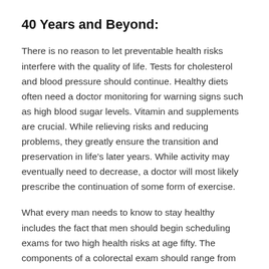40 Years and Beyond:
There is no reason to let preventable health risks interfere with the quality of life. Tests for cholesterol and blood pressure should continue. Healthy diets often need a doctor monitoring for warning signs such as high blood sugar levels. Vitamin and supplements are crucial. While relieving risks and reducing problems, they greatly ensure the transition and preservation in life’s later years. While activity may eventually need to decrease, a doctor will most likely prescribe the continuation of some form of exercise.
What every man needs to know to stay healthy includes the fact that men should begin scheduling exams for two high health risks at age fifty. The components of a colorectal exam should range from one to ten years. With early discovery, colorectal cancer is easily treated. Prostate cancer is the most common form for men. An annual PSA blood test